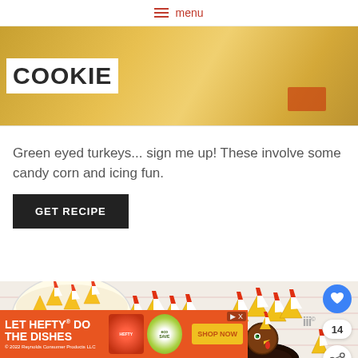menu
[Figure (photo): Partial image of decorated turkey cookies on a yellow background with text 'Cookie' visible]
Green eyed turkeys... sign me up! These involve some candy corn and icing fun.
GET RECIPE
[Figure (photo): Chocolate Oreo turkey cookies decorated with candy corn feathers and chocolate ball heads on a white surface]
[Figure (other): Advertisement banner: LET HEFTY DO THE DISHES with ECOSAVE product and SHOP NOW button]